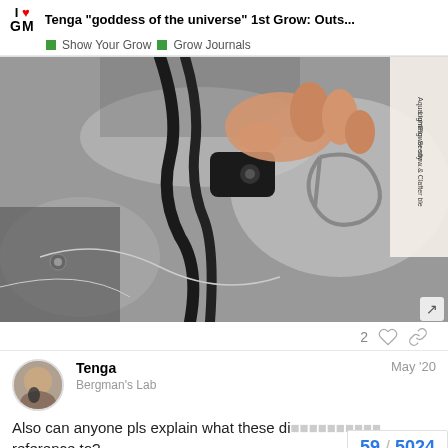I ❤ GM | Tenga "goddess of the universe" 1st Grow: Outs... | Show Your Grow | Grow Journals
[Figure (photo): Close-up photo of hands holding a black rope ratchet hanger with a carabiner clip, with a reflective grow tent material visible in the background and a paper/card with text on the right side.]
2
Tenga
Bergman's Lab
May '20
Also can anyone pls explain what these di reference to?
59 / 5024